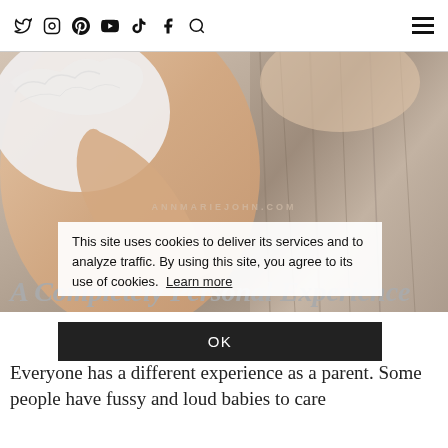Social media icons: Twitter, Instagram, Pinterest, YouTube, TikTok, Facebook, Search | Hamburger menu
[Figure (photo): Close-up photo of a person in a white ruffled top, arm resting, with a rustic wooden surface in the background. Watermark text: ANNMARIEJOHN.COM]
This site uses cookies to deliver its services and to analyze traffic. By using this site, you agree to its use of cookies. Learn more
OK
A Completely Personal Experience
Everyone has a different experience as a parent. Some people have fussy and loud babies to care